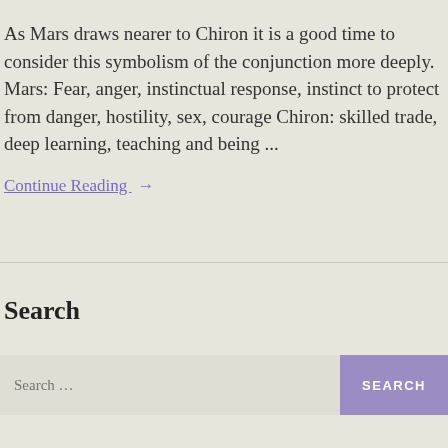As Mars draws nearer to Chiron it is a good time to consider this symbolism of the conjunction more deeply. Mars: Fear, anger, instinctual response, instinct to protect from danger, hostility, sex, courage Chiron: skilled trade, deep learning, teaching and being ...
Continue Reading →
Search
Search ...